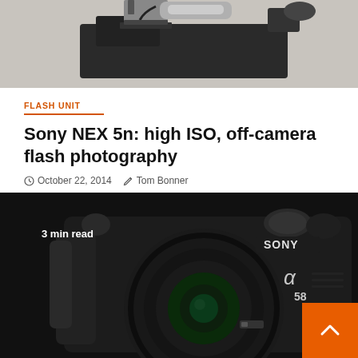[Figure (photo): Top portion of a camera with flash unit attached, shown on grey background]
FLASH UNIT
Sony NEX 5n: high ISO, off-camera flash photography
October 22, 2014   Tom Bonner
[Figure (photo): Sony Alpha 58 DSLR camera with wide-angle lens, shown on dark background with '3 min read' text overlay]